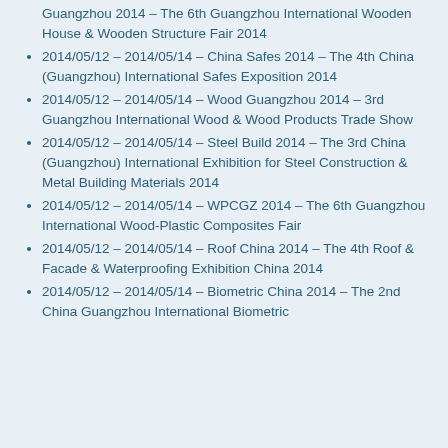Guangzhou 2014 – The 6th Guangzhou International Wooden House & Wooden Structure Fair 2014
2014/05/12 – 2014/05/14 – China Safes 2014 – The 4th China (Guangzhou) International Safes Exposition 2014
2014/05/12 – 2014/05/14 – Wood Guangzhou 2014 – 3rd Guangzhou International Wood & Wood Products Trade Show
2014/05/12 – 2014/05/14 – Steel Build 2014 – The 3rd China (Guangzhou) International Exhibition for Steel Construction & Metal Building Materials 2014
2014/05/12 – 2014/05/14 – WPCGZ 2014 – The 6th Guangzhou International Wood-Plastic Composites Fair
2014/05/12 – 2014/05/14 – Roof China 2014 – The 4th Roof & Facade & Waterproofing Exhibition China 2014
2014/05/12 – 2014/05/14 – Biometric China 2014 – The 2nd China Guangzhou International Biometric